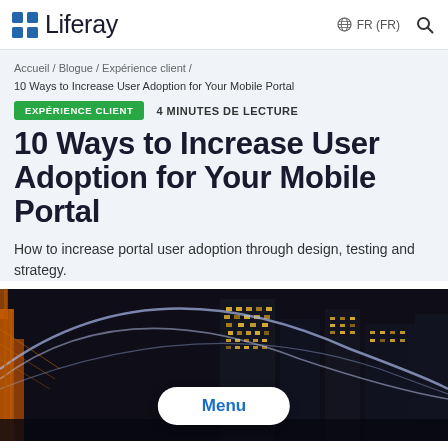Liferay — FR (FR)
Accueil / Blogue / Expérience client /
10 Ways to Increase User Adoption for Your Mobile Portal
EXPÉRIENCE CLIENT   4 MINUTES DE LECTURE
10 Ways to Increase User Adoption for Your Mobile Portal
How to increase portal user adoption through design, testing and strategy.
[Figure (photo): Night cityscape with illuminated buildings and curved light trails, with a 'Menu' button overlay at the bottom center.]